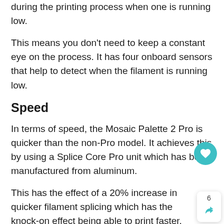during the printing process when one is running low.
This means you don't need to keep a constant eye on the process. It has four onboard sensors that help to detect when the filament is running low.
Speed
In terms of speed, the Mosaic Palette 2 Pro is quicker than the non-Pro model. It achieves this by using a Splice Core Pro unit which has been manufactured from aluminum.
This has the effect of a 20% increase in quicker filament splicing which has the knock-on effect being able to print faster. The filament production is